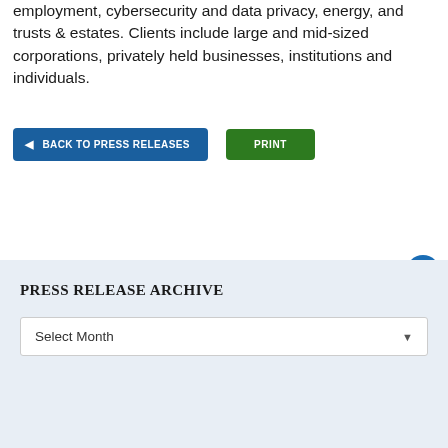employment, cybersecurity and data privacy, energy, and trusts & estates. Clients include large and mid-sized corporations, privately held businesses, institutions and individuals.
[Figure (screenshot): Two navigation buttons: a blue 'BACK TO PRESS RELEASES' button with left arrow, and a green 'PRINT' button]
[Figure (illustration): Blue circular accessibility icon with white person/wheelchair symbol]
PRESS RELEASE ARCHIVE
[Figure (screenshot): Dropdown selector labeled 'Select Month' with dropdown arrow]